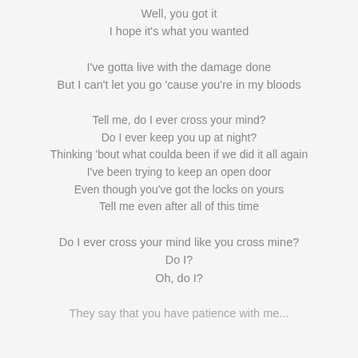Well, you got it
I hope it's what you wanted
I've gotta live with the damage done
But I can't let you go 'cause you're in my bloods
Tell me, do I ever cross your mind?
Do I ever keep you up at night?
Thinking 'bout what coulda been if we did it all again
I've been trying to keep an open door
Even though you've got the locks on yours
Tell me even after all of this time
Do I ever cross your mind like you cross mine?
Do I?
Oh, do I?
They say that you have patience with me...